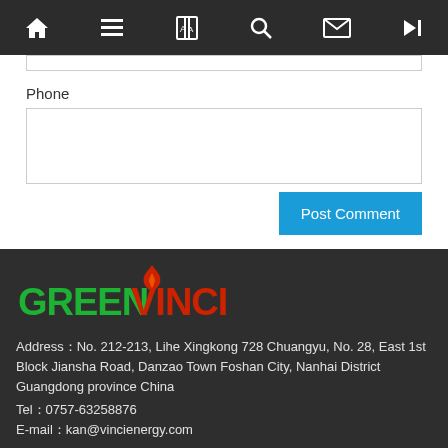Navigation bar with home, list, translate, search, mail, and skip icons
Phone
[Figure (other): Empty text input box for Phone field]
Post Comment
[Figure (logo): GreenVinci logo with flame graphic above the V in Vinci, green text for GREEN and red text for VINCI]
Address：No. 212-213, Lihe Xingkong 728 Chuangyu, No. 28, East 1st Block Jiansha Road, Danzao Town Foshan City, Nanhai District Guangdong province China
Tel：0757-63258876
E-mail：kan@vincienergy.com